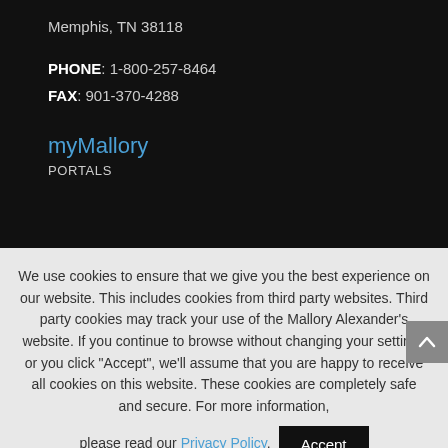Memphis, TN 38118
PHONE: 1-800-257-8464
FAX: 901-370-4288
myMallory
PORTALS
We use cookies to ensure that we give you the best experience on our website. This includes cookies from third party websites. Third party cookies may track your use of the Mallory Alexander's website. If you continue to browse without changing your settings or you click "Accept", we'll assume that you are happy to receive all cookies on this website. These cookies are completely safe and secure. For more information, please read our Privacy Policy.
Accept